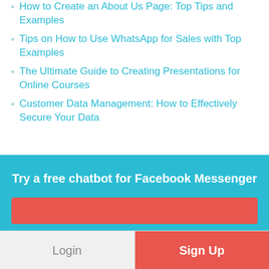How to Create an About Us Page: Top Tips and Examples
Tips on How to Use WhatsApp for Sales with Top Examples
The Ultimate Guide to Creating Presentations for Online Courses
Customer Data Management: How to Effectively Secure Your Data
Try a free chatbot for Facebook Messenger
Login
Sign Up